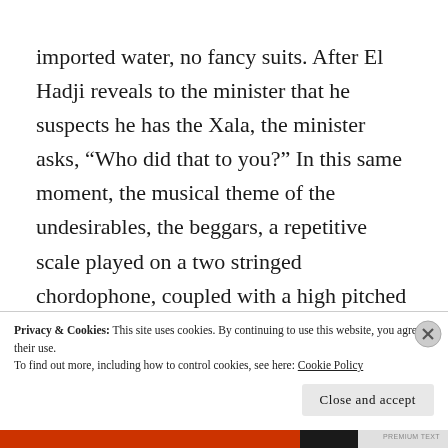imported water, no fancy suits. After El Hadji reveals to the minister that he suspects he has the Xala, the minister asks, “Who did that to you?” In this same moment, the musical theme of the undesirables, the beggars, a repetitive scale played on a two stringed chordophone, coupled with a high pitched male voice bellows out. Frantically, El Hadji calls for them to be deported. They have set up right outside of his depot, he cannot stand them. They are always
Privacy & Cookies: This site uses cookies. By continuing to use this website, you agree to their use.
To find out more, including how to control cookies, see here: Cookie Policy